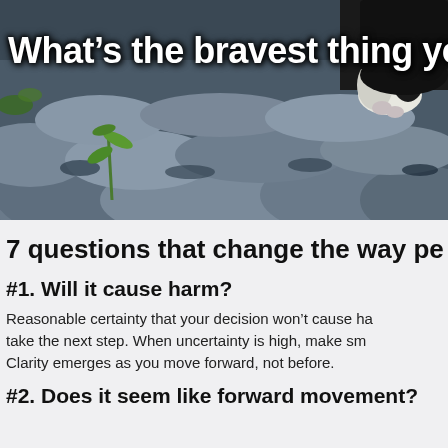[Figure (photo): Photo of cobblestone/rocky ground with a small green plant growing between stones, and a black-and-white cat's paw visible in the upper right. Overlaid white text reads: What's the bravest thing yo]
7 questions that change the way pe
#1. Will it cause harm?
Reasonable certainty that your decision won't cause ha take the next step. When uncertainty is high, make sm Clarity emerges as you move forward, not before.
#2. Does it seem like forward movement?